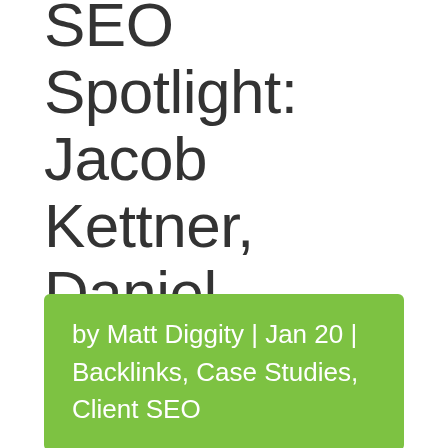SEO Spotlight: Jacob Kettner, Daniel Moscovitch, Michael Landau-Spiers
by Matt Diggity | Jan 20 | Backlinks, Case Studies, Client SEO